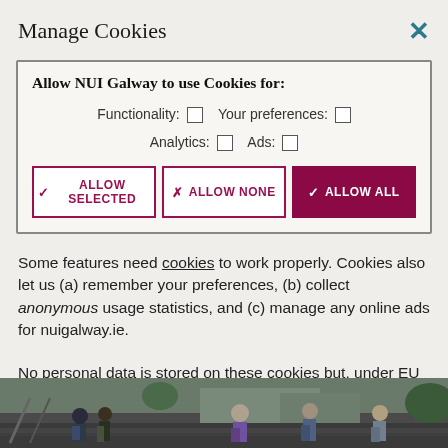Manage Cookies
Allow NUI Galway to use Cookies for:
Functionality:  ☐  Your preferences:  ☐
Analytics:  ☐  Ads:  ☐
[ALLOW SELECTED] [ALLOW NONE] [ALLOW ALL]
Some features need cookies to work properly. Cookies also let us (a) remember your preferences, (b) collect anonymous usage statistics, and (c) manage any online ads for nuigalway.ie.
No personal data is stored on these cookies but, under EU law, we still need to ask you this every 6 months. To learn more about our use of cookies, view our Privacy Policy.
[Figure (photo): Photo strip at the bottom showing students outdoors on campus steps]